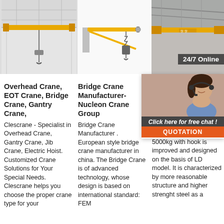[Figure (photo): Overhead crane in a warehouse with yellow beam]
[Figure (photo): Jib crane (wall-mounted) with hoist, yellow arm on white background]
[Figure (photo): Bridge crane in industrial facility]
[Figure (photo): 24/7 Online customer service representative overlaid on a dark background]
Overhead Crane, EOT Crane, Bridge Crane, Gantry Crane,
Clescrane - Specialist in Overhead Crane, Gantry Crane, Jib Crane, Electric Hoist. Customized Crane Solutions for Your Special Needs. Clescrane helps you choose the proper crane type for your
Bridge Crane Manufacturer- Nucleon Crane Group
Bridge Crane Manufacturer . European style bridge crane manufacturer in china. The Bridge Crane is of advanced technology, whose design is based on international standard: FEM
Ld Overhead Bridge Crane 5000kg Hook -
Single Bridge Overhead Crane Details. ld overhead bridge crane 5000kg with hook is improved and designed on the basis of LD model. It is characterized by more reasonable structure and higher strenght steel as a